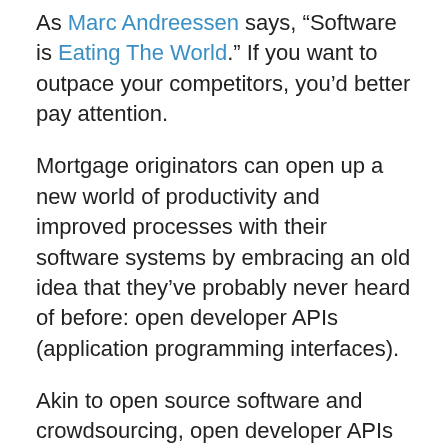As Marc Andreessen says, "Software is Eating The World." If you want to outpace your competitors, you'd better pay attention.
Mortgage originators can open up a new world of productivity and improved processes with their software systems by embracing an old idea that they've probably never heard of before: open developer APIs (application programming interfaces).
Akin to open source software and crowdsourcing, open developer APIs let